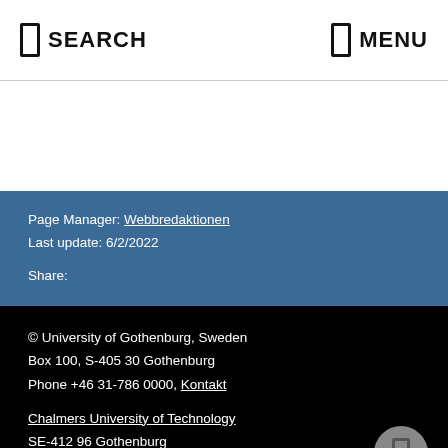SEARCH | MENU
Page Manager: Webbredaktionen
Last update: 6/2/2022

Share:
© University of Gothenburg, Sweden
Box 100, S-405 30 Gothenburg
Phone +46 31-786 0000, Kontakt

Chalmers University of Technology
SE-412 96 Gothenburg
Phone +46 (0)31-772 10 00, Contact